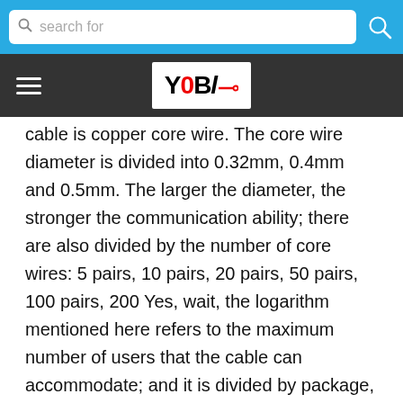search for
[Figure (logo): YOBl website logo in black and red on white background, with navigation bar]
cable is copper core wire. The core wire diameter is divided into 0.32mm, 0.4mm and 0.5mm. The larger the diameter, the stronger the communication ability; there are also divided by the number of core wires: 5 pairs, 10 pairs, 20 pairs, 50 pairs, 100 pairs, 200 Yes, wait, the logarithm mentioned here refers to the maximum number of users that the cable can accommodate; and it is divided by package, which I don't know much about. Cable: It is large in size, weight, and poor in communication ability, so it can only be used for short-range communication. Optical cable: When the phone converts the acoustic signal into an electrical signal and then transmits it to the switch via the